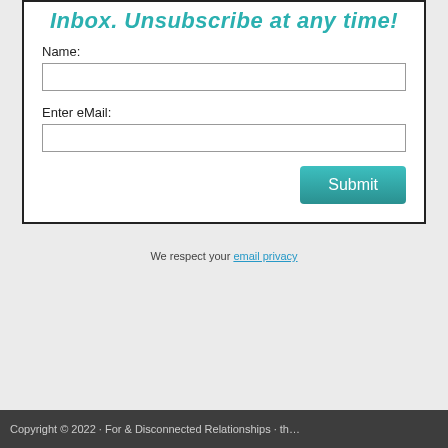Inbox. Unsubscribe at any time!
Name:
Enter eMail:
We respect your email privacy
Copyright © 2022 · For & Disconnected Relationships · th…